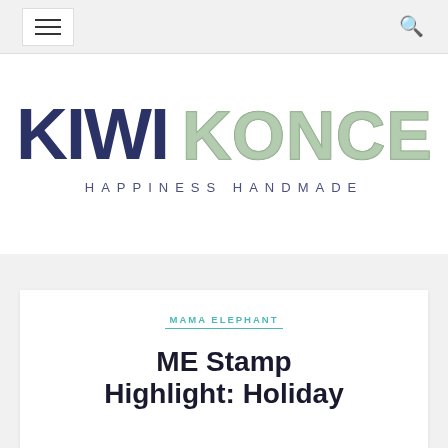Navigation bar with hamburger menu and search icon
[Figure (logo): Kiwi Koncepts logo — 'KIWI' in bold dark navy, 'KONCEPTS' in sage green outlined bubble letters, subtitle 'HAPPINESS HANDMADE' in spaced navy capitals]
MAMA ELEPHANT
ME Stamp Highlight: Holiday